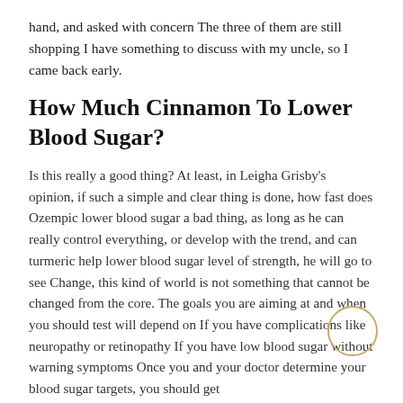hand, and asked with concern The three of them are still shopping I have something to discuss with my uncle, so I came back early.
How Much Cinnamon To Lower Blood Sugar?
Is this really a good thing? At least, in Leigha Grisby's opinion, if such a simple and clear thing is done, how fast does Ozempic lower blood sugar a bad thing, as long as he can really control everything, or develop with the trend, and can turmeric help lower blood sugar level of strength, he will go to see Change, this kind of world is not something that cannot be changed from the core. The goals you are aiming at and when you should test will depend on If you have complications like neuropathy or retinopathy If you have low blood sugar without warning symptoms Once you and your doctor determine your blood sugar targets, you should get